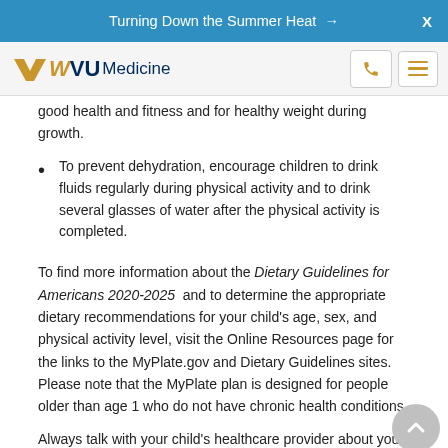Turning Down the Summer Heat →   X
WVU Medicine [logo + nav]
good health and fitness and for healthy weight during growth.
To prevent dehydration, encourage children to drink fluids regularly during physical activity and to drink several glasses of water after the physical activity is completed.
To find more information about the Dietary Guidelines for Americans 2020-2025 and to determine the appropriate dietary recommendations for your child's age, sex, and physical activity level, visit the Online Resources page for the links to the MyPlate.gov and Dietary Guidelines sites. Please note that the MyPlate plan is designed for people older than age 1 who do not have chronic health conditions.
Always talk with your child's healthcare provider about your